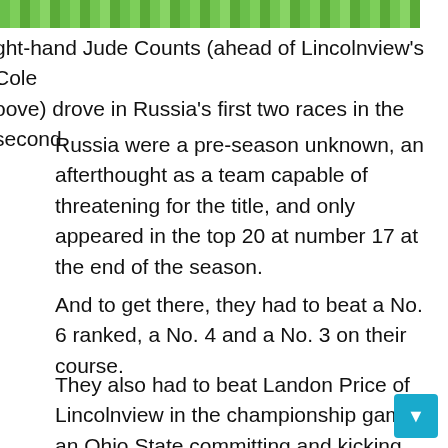[Figure (photo): Green grass field strip at top of page]
ght-hand Jude Counts (ahead of Lincolnview's Cole oove) drove in Russia's first two races in the second.
Russia were a pre-season unknown, an afterthought as a team capable of threatening for the title, and only appeared in the top 20 at number 17 at the end of the season.
And to get there, they had to beat a No. 6 ranked, a No. 4 and a No. 3 on their course.
They also had to beat Landon Price of Lincolnview in the championship game, an Ohio State committing and kicking machine who had NEVER lost a game in high school — 24-0 —